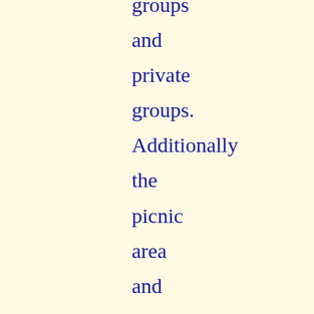groups and private groups. Additionally the picnic area and classrooms may be reserved for public or private functions. There